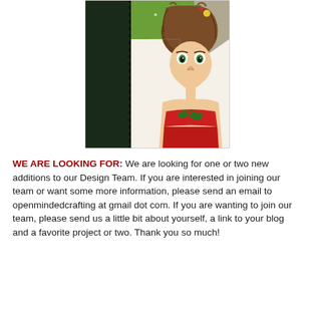[Figure (photo): A close-up photo of an illustrated/colored card featuring a girl with big green eyes, red lips, and messy brown hair with floral decoration, wearing a red and green top. The card is propped against a dark green object on a light surface.]
WE ARE LOOKING FOR: We are looking for one or two new additions to our Design Team. If you are interested in joining our team or want some more information, please send an email to openmindedcrafting at gmail dot com. If you are wanting to join our team, please send us a little bit about yourself, a link to your blog and a favorite project or two. Thank you so much!